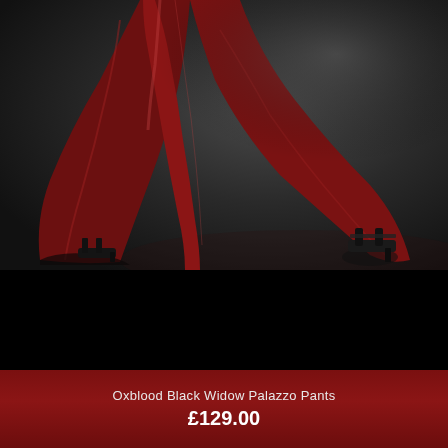[Figure (photo): Fashion product photo showing the lower portion of a model wearing wide-leg oxblood/dark red palazzo pants with flowy fabric, paired with black heeled sandals, against a dark grey gradient background.]
Oxblood Black Widow Palazzo Pants
£129.00